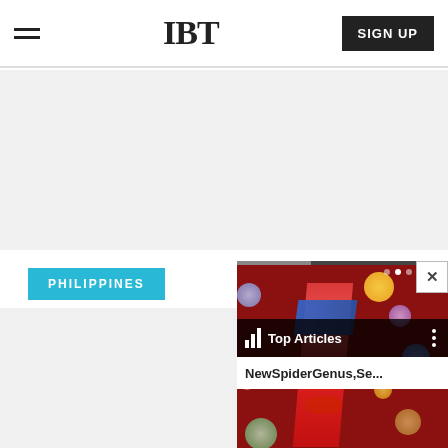IBT
[Figure (screenshot): IBT website header with hamburger menu on left, IBT logo in center, and SIGN UP button on right]
[Figure (photo): Gray advertisement banner area below the header]
PHILIPPINES
[Figure (screenshot): Popup overlay showing a colorful image (David Bowie face with colorful orbs/planets on red background), with Top Articles bar and headline NewSpiderGenus,Se... A close button X is in the top right corner.]